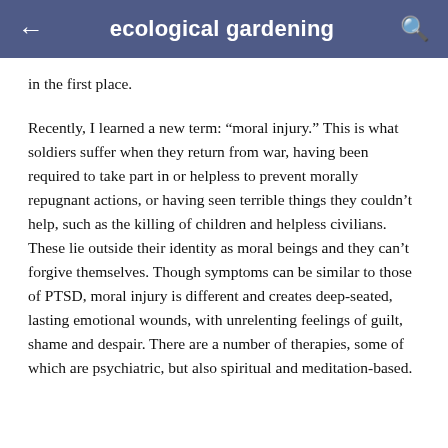ecological gardening
in the first place.
Recently, I learned a new term: “moral injury.” This is what soldiers suffer when they return from war, having been required to take part in or helpless to prevent morally repugnant actions, or having seen terrible things they couldn’t help, such as the killing of children and helpless civilians. These lie outside their identity as moral beings and they can’t forgive themselves. Though symptoms can be similar to those of PTSD, moral injury is different and creates deep-seated, lasting emotional wounds, with unrelenting feelings of guilt, shame and despair. There are a number of therapies, some of which are psychiatric, but also spiritual and meditation-based.